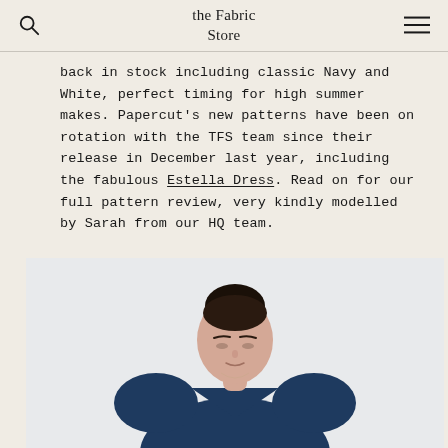the Fabric Store
back in stock including classic Navy and White, perfect timing for high summer makes. Papercut's new patterns have been on rotation with the TFS team since their release in December last year, including the fabulous Estella Dress. Read on for our full pattern review, very kindly modelled by Sarah from our HQ team.
[Figure (photo): A woman with dark hair in a bun wearing a navy blue dress with puffed sleeves and a V-neckline, looking down against a white background.]